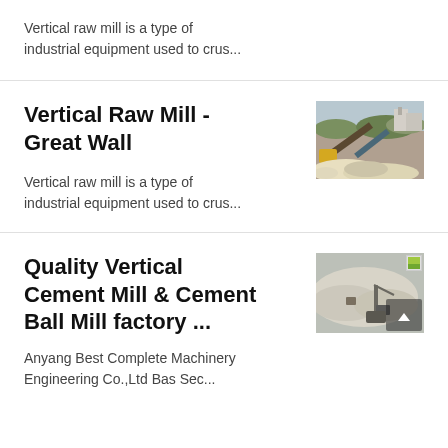Vertical raw mill is a type of industrial equipment used to crus...
Vertical Raw Mill - Great Wall
Vertical raw mill is a type of industrial equipment used to crus...
[Figure (photo): Industrial quarry or mining/crushing plant with conveyor belts and heavy machinery, piles of sand/gravel in the foreground]
Quality Vertical Cement Mill & Cement Ball Mill factory ...
[Figure (photo): Aerial or elevated view of a mining or quarry site with machinery and large piles of material]
Anyang Best Complete Machinery Engineering Co.,Ltd Bas Sec...